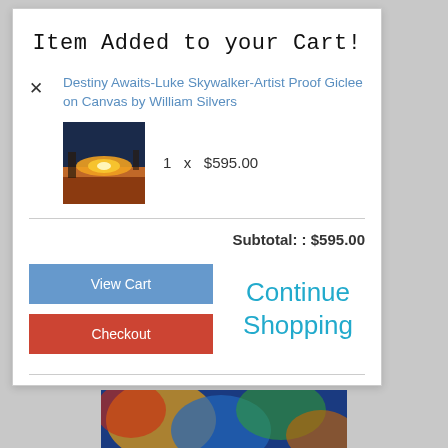Item Added to your Cart!
Destiny Awaits-Luke Skywalker-Artist Proof Giclee on Canvas by William Silvers
1  x  $595.00
Subtotal: : $595.00
View Cart
Checkout
Continue Shopping
[Figure (photo): Thumbnail of painting showing a sunset/orange sky landscape scene (Destiny Awaits artwork)]
[Figure (photo): Partial view of a colorful abstract painting with blue, yellow, red swirls visible at the bottom of the page]